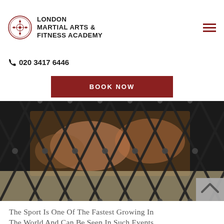[Figure (logo): London Martial Arts & Fitness Academy logo with circular emblem and organization name]
020 3417 6446
BOOK NOW
[Figure (photo): Close-up photo of chain-link fence with blurred martial arts fighters in the background]
The sport is one of the fastest growing in the world and can be seen in such events